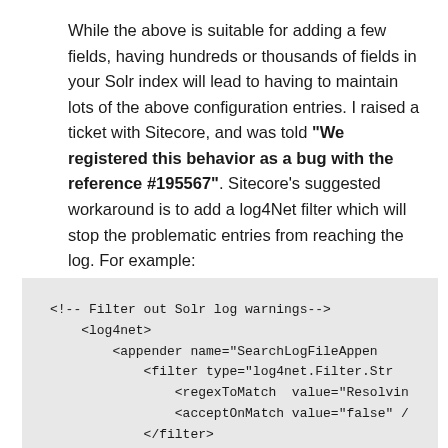While the above is suitable for adding a few fields, having hundreds or thousands of fields in your Solr index will lead to having to maintain lots of the above configuration entries. I raised a ticket with Sitecore, and was told "We registered this behavior as a bug with the reference #195567". Sitecore's suggested workaround is to add a log4Net filter which will stop the problematic entries from reaching the log. For example:
[Figure (screenshot): Code block on grey background showing XML configuration for a log4net filter to suppress Solr log warnings. Code: <!-- Filter out Solr log warnings--><log4net><appender name="SearchLogFileAppen...<filter type="log4net.Filter.Str...<regexToMatch value="Resolvin...<acceptOnMatch value="false" /...</filter></appender></log4net>]